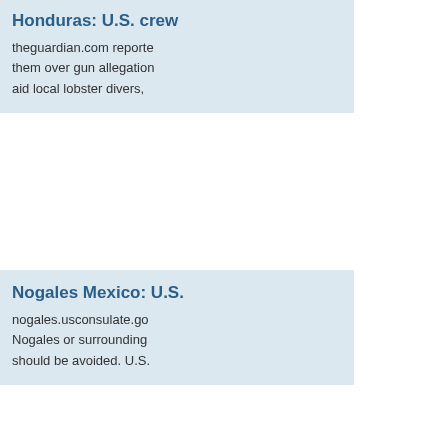Honduras: U.S. crew
theguardian.com reporte them over gun allegations aid local lobster divers,
Nogales Mexico: U.S.
nogales.usconsulate.go Nogales or surrounding should be avoided. U.S.
Man from U.S. disco
latino.foxnews.com repo south of the dangerous advisory for the region.
Ecuador: Three forei
SAFETY AND SECURIT foreigners were killed Th operations Committee. T